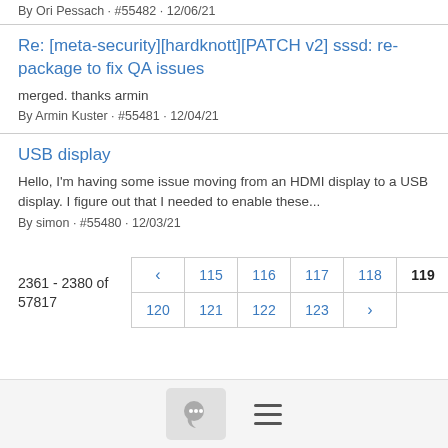By Ori Pessach · #55482 · 12/06/21
Re: [meta-security][hardknott][PATCH v2] sssd: re-package to fix QA issues
merged. thanks armin
By Armin Kuster · #55481 · 12/04/21
USB display
Hello, I'm having some issue moving from an HDMI display to a USB display. I figure out that I needed to enable these...
By simon · #55480 · 12/03/21
2361 - 2380 of 57817
[Figure (other): Pagination controls showing pages 115, 116, 117, 118, 119 (active/bold), 120, 121, 122, 123 with prev/next arrows]
Chat icon and hamburger menu icon